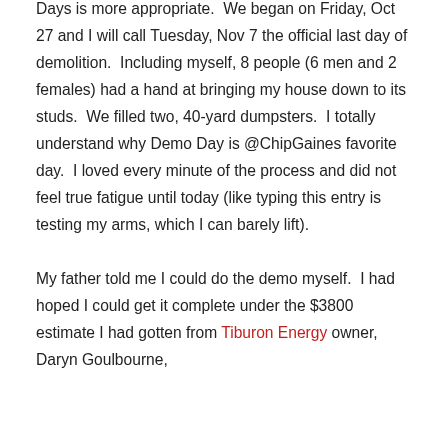Days is more appropriate.  We began on Friday, Oct 27 and I will call Tuesday, Nov 7 the official last day of demolition.  Including myself, 8 people (6 men and 2 females) had a hand at bringing my house down to its studs.  We filled two, 40-yard dumpsters.  I totally understand why Demo Day is @ChipGaines favorite day.  I loved every minute of the process and did not feel true fatigue until today (like typing this entry is testing my arms, which I can barely lift).

My father told me I could do the demo myself.  I had hoped I could get it complete under the $3800 estimate I had gotten from Tiburon Energy owner, Daryn Goulbourne,